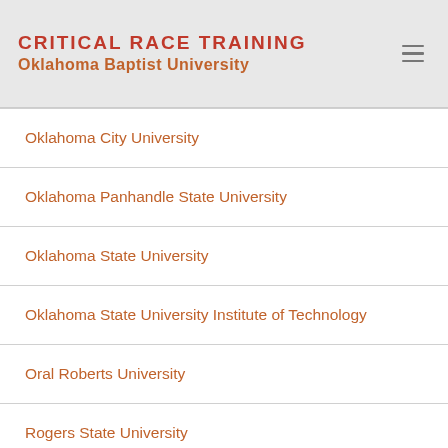CRITICAL RACE TRAINING
Oklahoma Baptist University
Oklahoma City University
Oklahoma Panhandle State University
Oklahoma State University
Oklahoma State University Institute of Technology
Oral Roberts University
Rogers State University
University of Oklahoma